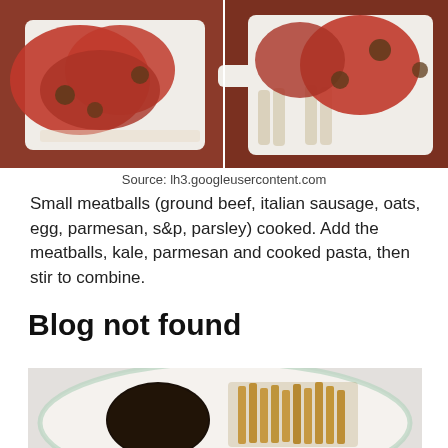[Figure (photo): Two side-by-side photos of pasta dish with tomato sauce and meatballs in white baking dishes]
Source: lh3.googleusercontent.com
Small meatballs (ground beef, italian sausage, oats, egg, parmesan, s&p, parsley) cooked. Add the meatballs, kale, parmesan and cooked pasta, then stir to combine.
Blog not found
[Figure (photo): Photo of a plate with a dark cooked meat patty and french fries on a decorative plate]